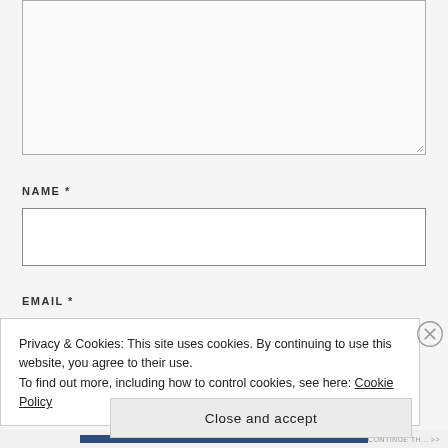[Figure (screenshot): Partial text area input box at top of page, cut off at top edge]
NAME *
[Figure (screenshot): Empty text input box for NAME field]
EMAIL *
Privacy & Cookies: This site uses cookies. By continuing to use this website, you agree to their use.
To find out more, including how to control cookies, see here: Cookie Policy
Close and accept